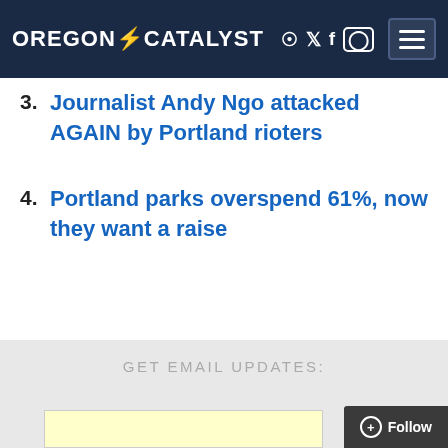OREGON CATALYST
Journalist Andy Ngo attacked AGAIN by Portland rioters
Portland parks overspend 61%, now they want a raise
GET EMAIL UPDATES: